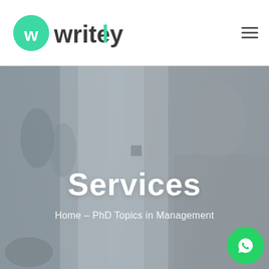[Figure (logo): Writely logo with green circular W icon and text 'writely' in dark and green colors]
[Figure (photo): Background hero image showing blurred business professionals, man in suit smiling on the right, silhouettes on the left, muted gray-blue tones]
Services
Home – PhD Topics in Management